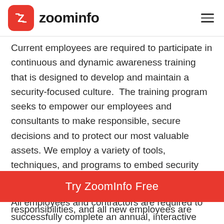zoominfo
Current employees are required to participate in continuous and dynamic awareness training that is designed to develop and maintain a security-focused culture.  The training program seeks to empower our employees and consultants to make responsible, secure decisions and to protect our most valuable assets. We employ a variety of tools, techniques, and programs to embed security into our professional and personal lives.
All employees and contractors are required to successfully complete an annual, interactive
[Figure (other): Red CTA button: Try ZoomInfo Free]
responsibilities, and all new employees are